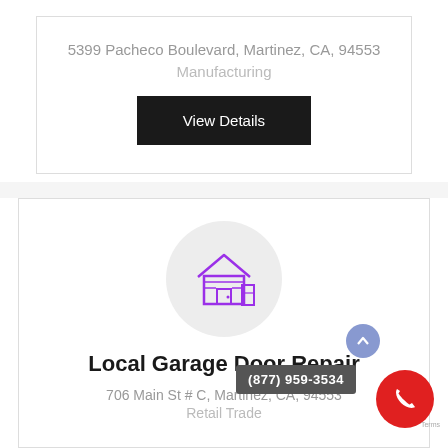5399 Pacheco Boulevard, Martinez, CA, 94553
Manufacturing
View Details
[Figure (illustration): Garage door repair icon: a house with garage door in purple outline, inside a light gray circle]
Local Garage Door Repair
706 Main St # C, Martinez, CA, 94553
Retail Trade
(877) 959-3534